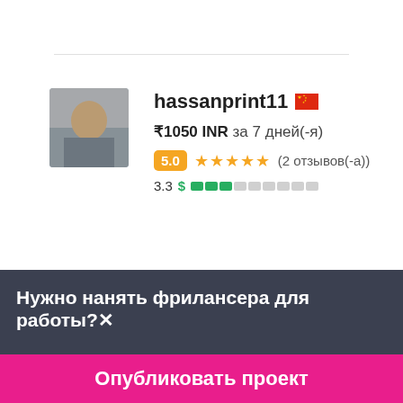[Figure (photo): Profile photo of hassanprint11 — person at desk with books]
hassanprint11 🇨🇳
₹1050 INR за 7 дней(-я)
5.0 ★★★★★ (2 отзывов(-а))
3.3 $ ███░░░░░░░
[Figure (photo): Profile photo of Keshav250 — man with dark background]
Keshav250 🇮🇳
Нужно нанять фрилансера для работы?✕
Опубликовать проект